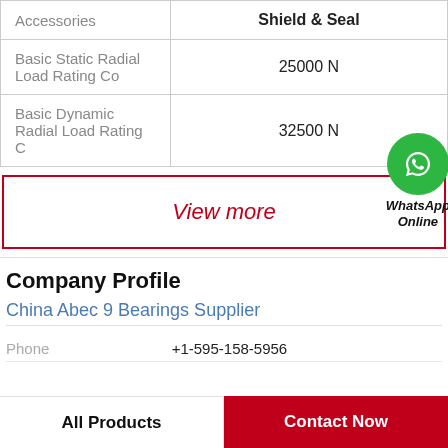|  |  |
| --- | --- |
| Accessories | Shield & Seal |
| Basic Static Radial Load Rating Co | 25000 N |
| Basic Dynamic Radial Load Rating C | 32500 N |
View more
[Figure (logo): WhatsApp Online badge with green circle phone icon]
Company Profile
China Abec 9 Bearings Supplier
Phone  +1-595-158-5956
All Products
Contact Now